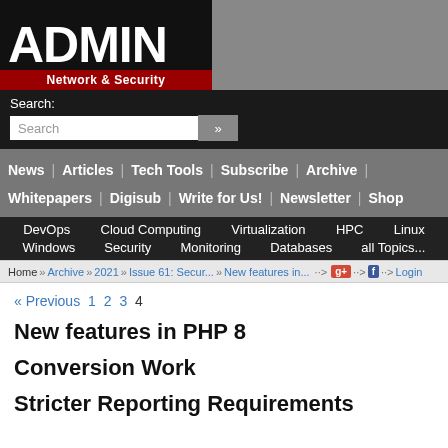[Figure (logo): ADMIN Network & Security logo — white bold ADMIN text on black background with red tagline bar]
Search:
News | Articles | Tech Tools | Subscribe | Archive | Whitepapers | Digisub | Write for Us! | Newsletter | Shop
DevOps  Cloud Computing  Virtualization  HPC  Linux  Windows  Security  Monitoring  Databases  all Topics...
Home » Archive » 2021 » Issue 61: Secur... » New features in... » Login
« Previous 1 2 3 4
New features in PHP 8
Conversion Work
Stricter Reporting Requirements